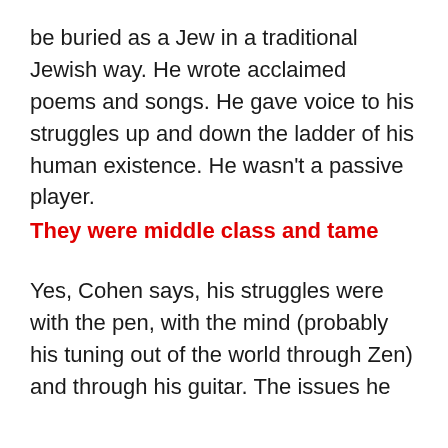be buried as a Jew in a traditional Jewish way. He wrote acclaimed poems and songs. He gave voice to his struggles up and down the ladder of his human existence. He wasn't a passive player.
They were middle class and tame
Yes, Cohen says, his struggles were with the pen, with the mind (probably his tuning out of the world through Zen) and through his guitar. The issues he